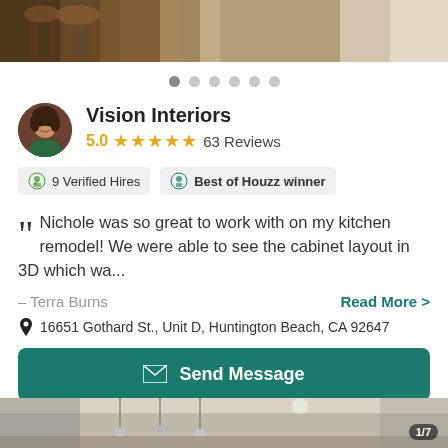[Figure (photo): Top portion of a room interior showing wooden chairs and white walls]
Vision Interiors
5.0 ★★★★★ 63 Reviews
9 Verified Hires   Best of Houzz winner
Nichole was so great to work with on my kitchen remodel! We were able to see the cabinet layout in 3D which wa...
– Terra Burns
Read More >
16651 Gothard St., Unit D, Huntington Beach, CA 92647
Send Message
[Figure (photo): Bottom portion showing kitchen interior with pendant lights, counter 1/7]